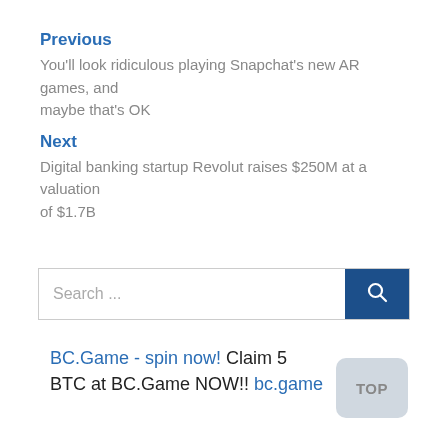Previous
You'll look ridiculous playing Snapchat's new AR games, and maybe that's OK
Next
Digital banking startup Revolut raises $250M at a valuation of $1.7B
Search ...
BC.Game - spin now! Claim 5 BTC at BC.Game NOW!! bc.game